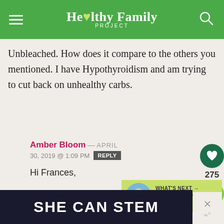[Figure (logo): Healthy Family Project website header with green background, hamburger menu icon on left, logo in center, and search icon on right]
Unbleached. How does it compare to the others you mentioned. I have Hypothyroidism and am trying to cut back on unhealthy carbs.
Amber Bloom — APRIL 30, 2019 @ 1:09 PM REPLY
Hi Frances,
If you're usually an all purpose white flour user, try the white whole wheat flour. It has a milder taste than whole
[Figure (infographic): What's Next widget with child photo and text: 6 Ways to Get Kids to Try...]
[Figure (infographic): SHE CAN STEM footer advertisement banner]